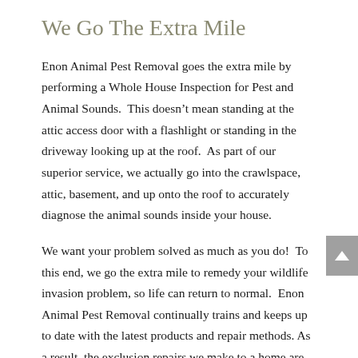We Go The Extra Mile
Enon Animal Pest Removal goes the extra mile by performing a Whole House Inspection for Pest and Animal Sounds.  This doesn’t mean standing at the attic access door with a flashlight or standing in the driveway looking up at the roof.  As part of our superior service, we actually go into the crawlspace, attic, basement, and up onto the roof to accurately diagnose the animal sounds inside your house.
We want your problem solved as much as you do!  To this end, we go the extra mile to remedy your wildlife invasion problem, so life can return to normal.  Enon Animal Pest Removal continually trains and keeps up to date with the latest products and repair methods. As a result, the exclusion repairs we make to a home are seldom noticeable. The repairs are made to be aesthetically pleasing to the eye but strong enough to keep out wildlife